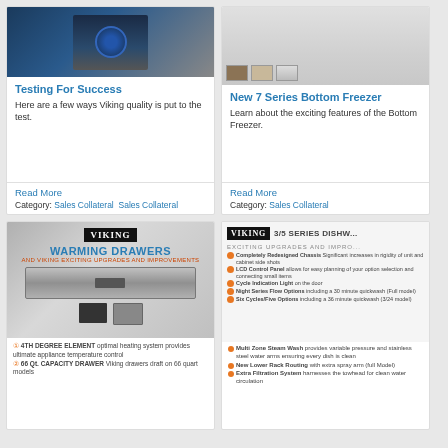[Figure (photo): Viking product image - dark blue clock/timer device on dark background for Testing For Success article]
Testing For Success
Here are a few ways Viking quality is put to the test.
Read More
Category: Sales Collateral   Sales Collateral
[Figure (photo): Viking 7 Series Bottom Freezer refrigerator with wood finish swatches shown]
New 7 Series Bottom Freezer
Learn about the exciting features of the Bottom Freezer.
Read More
Category: Sales Collateral
[Figure (infographic): Viking Warming Drawers sales collateral with product diagram, Viking logo, title 'WARMING DRAWERS' in blue, subtitle in orange/red, and annotated product image]
[Figure (infographic): Viking 3/5 Series Dishwasher sales collateral with logo, title, 'EXCITING UPGRADES AND IMPROVEMENTS' header, and bulleted list of features alongside product photo]